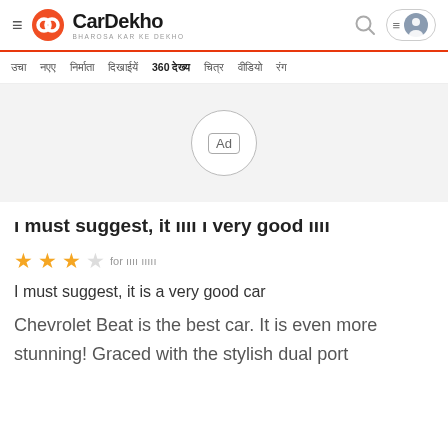CarDekho - BHAROSA KAR KE DEKHO
[Figure (screenshot): CarDekho website navigation bar with Hindi menu items including 360 view option]
[Figure (other): Advertisement placeholder showing Ad label in a circle]
ı must suggest, it ıını ı very good ıını
★★★☆ for ıını ıını
I must suggest, it is a very good car
Chevrolet Beat is the best car. It is even more stunning! Graced with the stylish dual port